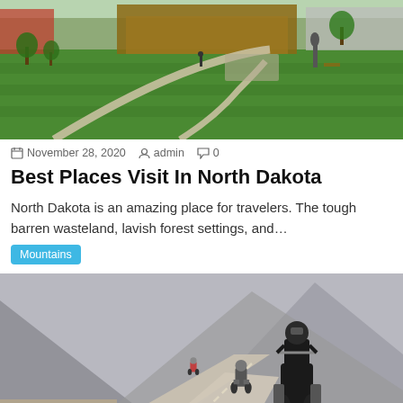[Figure (photo): A green park with walking paths, a statue, trees, and buildings in the background on a bright day.]
November 28, 2020  admin  0
Best Places Visit In North Dakota
North Dakota is an amazing place for travelers. The tough barren wasteland, lavish forest settings, and...
Mountains
[Figure (photo): Three motorcyclists riding along a mountain road with rocky grey hills in the background.]